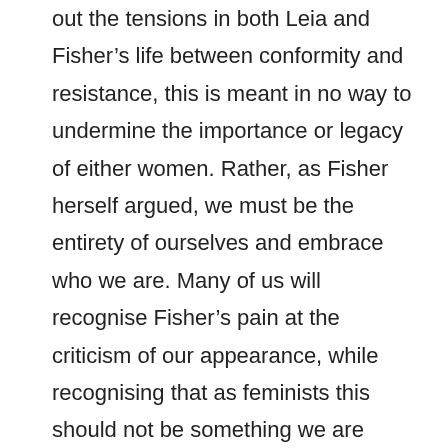out the tensions in both Leia and Fisher's life between conformity and resistance, this is meant in no way to undermine the importance or legacy of either women. Rather, as Fisher herself argued, we must be the entirety of ourselves and embrace who we are. Many of us will recognise Fisher's pain at the criticism of our appearance, while recognising that as feminists this should not be something we are concerned with or complicit in. I hope this chapter has helped to show Fisher and Leia to be the feminist leaders many of us see them to be. Despite Carrie Fisher's death, her influence and her leadership continue to empower